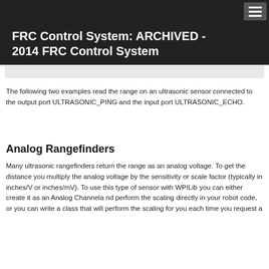FRC Control System: ARCHIVED - 2014 FRC Control System
The following two examples read the range on an ultrasonic sensor connected to the output port ULTRASONIC_PING and the input port ULTRASONIC_ECHO.
Analog Rangefinders
Many ultrasonic rangefinders return the range as an analog voltage. To get the distance you multiply the analog voltage by the sensitivity or scale factor (typically in inches/V or inches/mV). To use this type of sensor with WPILib you can either create it as an Analog Channel and perform the scaling directly in your robot code, or you can write a class that will perform the scaling for you each time you request a